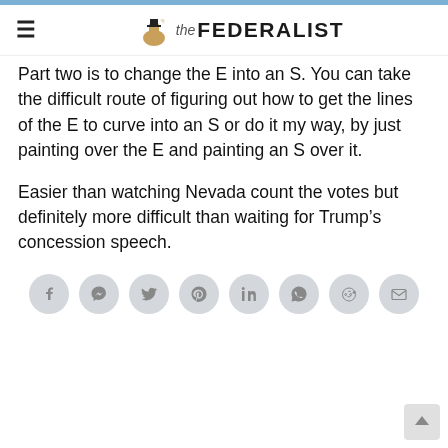the FEDERALIST
Part two is to change the E into an S. You can take the difficult route of figuring out how to get the lines of the E to curve into an S or do it my way, by just painting over the E and painting an S over it.
Easier than watching Nevada count the votes but definitely more difficult than waiting for Trump's concession speech.
[Figure (other): Social sharing icons row: Facebook, Messenger, Twitter, Pinterest, LinkedIn, WhatsApp, Reddit, Email]